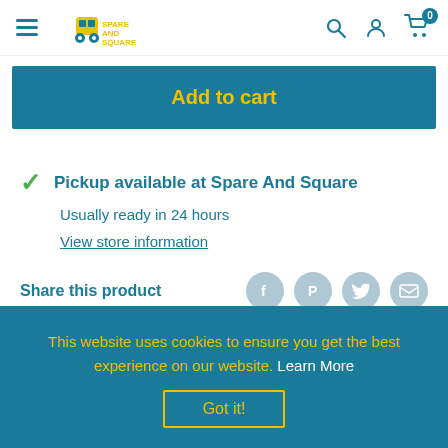Spare And Square — navigation header with hamburger, logo, search, account, and cart icons
Add to cart
Pickup available at Spare And Square
Usually ready in 24 hours
View store information
Share this product
This website uses cookies to ensure you get the best experience on our website. Learn More
Got it!